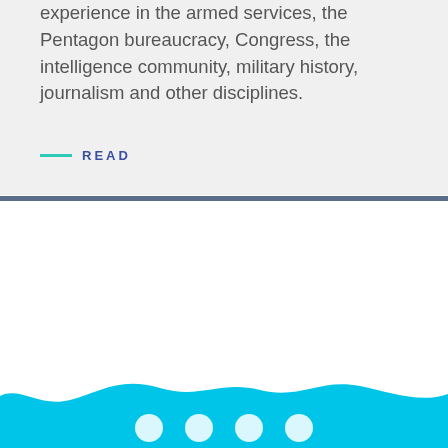experience in the armed services, the Pentagon bureaucracy, Congress, the intelligence community, military history, journalism and other disciplines.
READ
[Figure (illustration): Cyan wave/brush stroke decorative footer band at the bottom of the page, with a solid cyan rectangle below it and small circular social media icons.]